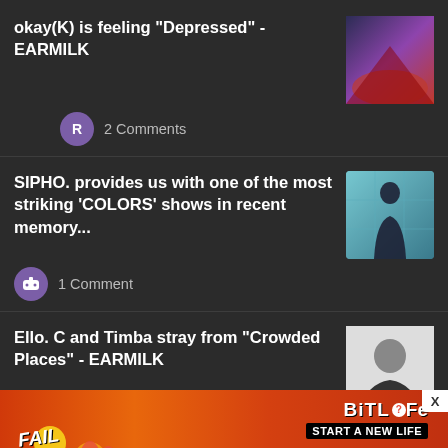okay(K) is feeling "Depressed" - EARMILK
2 Comments
SIPHO. provides us with one of the most striking 'COLORS' shows in recent memory...
1 Comment
Ello. C and Timba stray from "Crowded Places" - EARMILK
1 Comment
Sonya releases new high-
[Figure (screenshot): Advertisement banner for BitLife game with FAIL text and flame graphics]
X